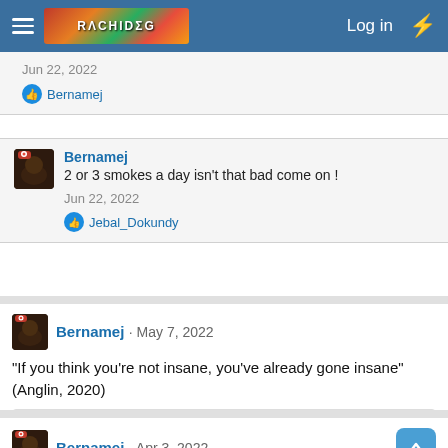Log in
Jun 22, 2022
Bernamej
Bernamej
2 or 3 smokes a day isn't that bad come on !
Jun 22, 2022
Jebal_Dokundy
Bernamej · May 7, 2022
"If you think you're not insane, you've already gone insane" (Anglin, 2020)
Numbered, Arminius, Cathy and 3 others
Bernamej · Apr 3, 2022
Naked man of colour strolls through shopping ma...